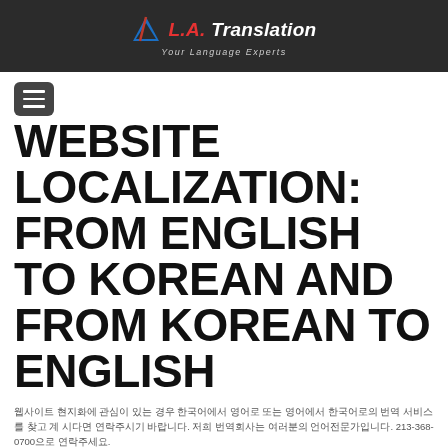[Figure (logo): L.A. Translation logo with blue triangle and red/white company name, tagline 'Your Language Experts' on dark background header bar]
[Figure (other): Hamburger menu button (three horizontal lines) in dark rounded square]
WEBSITE LOCALIZATION: FROM ENGLISH TO KOREAN AND FROM KOREAN TO ENGLISH
웹사이트 현지화에 관심이 있는 경우 한국어에서 영어로 또는 영어에서 한국어로의 번역 서비스를 찾고 계 시다면 연락주시기 바랍니다.  저희 번역회사는 여러분의 언어전문가입니다. 213-368-0700으로 연락주세요.
Korean document translation services